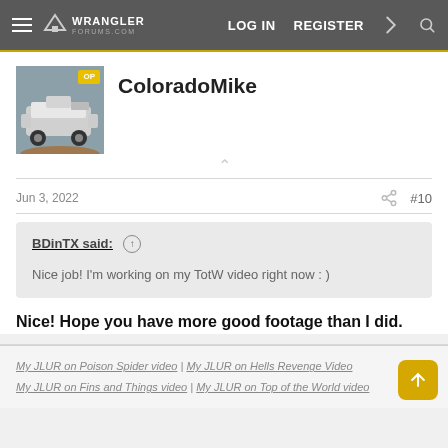Wrangler Forums — LOG IN  REGISTER
ColoradoMike
Jun 3, 2022  #10
BDinTX said: ↑
Nice job! I'm working on my TotW video right now : )
Nice! Hope you have more good footage than I did.
My JLUR on Poison Spider video | My JLUR on Hells Revenge Video
My JLUR on Fins and Things video | My JLUR on Top of the World video